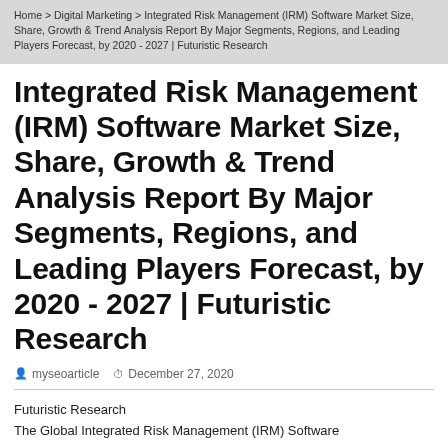Home > Digital Marketing > Integrated Risk Management (IRM) Software Market Size, Share, Growth & Trend Analysis Report By Major Segments, Regions, and Leading Players Forecast, by 2020 - 2027 | Futuristic Research
Integrated Risk Management (IRM) Software Market Size, Share, Growth & Trend Analysis Report By Major Segments, Regions, and Leading Players Forecast, by 2020 - 2027 | Futuristic Research
myseoarticle   December 27, 2020
Futuristic Research
The Global Integrated Risk Management (IRM) Software